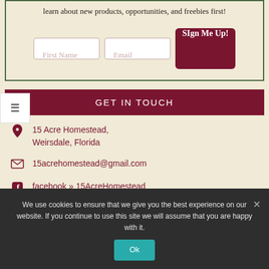learn about new products, opportunities, and freebies first!
First Name | Email | Sign Me Up!
GET IN TOUCH
15 Acre Homestead, Weirsdale, Florida
15acrehomestead@gmail.com
facebook » 15AcreHomestead
We use cookies to ensure that we give you the best experience on our website. If you continue to use this site we will assume that you are happy with it.